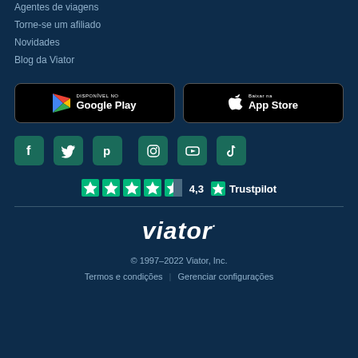Agentes de viagens
Torne-se um afiliado
Novidades
Blog da Viator
[Figure (screenshot): Google Play store badge - DISPONÍVEL NO Google Play]
[Figure (screenshot): App Store badge - Baixar na App Store]
[Figure (infographic): Social media icons row: Facebook, Twitter, Pinterest, Instagram, YouTube, TikTok]
[Figure (infographic): Trustpilot rating: 4,3 stars with Trustpilot logo]
[Figure (logo): Viator logo in white italic text]
© 1997-2022 Viator, Inc.
Termos e condições | Gerenciar configurações